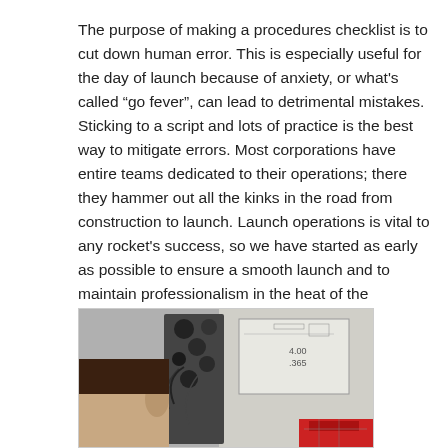The purpose of making a procedures checklist is to cut down human error. This is especially useful for the day of launch because of anxiety, or what's called “go fever”, can lead to detrimental mistakes. Sticking to a script and lots of practice is the best way to mitigate errors. Most corporations have entire teams dedicated to their operations; there they hammer out all the kinks in the road from construction to launch. Launch operations is vital to any rocket's success, so we have started as early as possible to ensure a smooth launch and to maintain professionalism in the heat of the moment.
[Figure (photo): A person working at a control station or equipment rack in a lab or classroom setting. A whiteboard is visible in the background with some writing. The equipment includes black cylindrical components and wiring.]